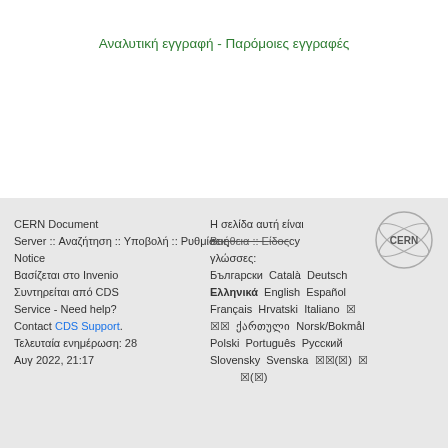Αναλυτική εγγραφή - Παρόμοιες εγγραφές
CERN Document Server :: Αναζήτηση :: Υποβολή :: Ρυθμίσεις Βοήθεια :: Είδος Notice
Βασίζεται στο Invenio
Συντηρείται από CDS Service - Need help?
Contact CDS Support.
Τελευταία ενημέρωση: 28 Αυγ 2022, 21:17
Η σελίδα αυτή είναι διαθέσιμη στις εξής γλώσσες:
Български Català Deutsch Ελληνικά English Español Français Hrvatski Italiano 日本語 ქართული Norsk/Bokmål Polski Português Русский Slovensky Svenska 中文(简) 繁 العربية(المغرب)